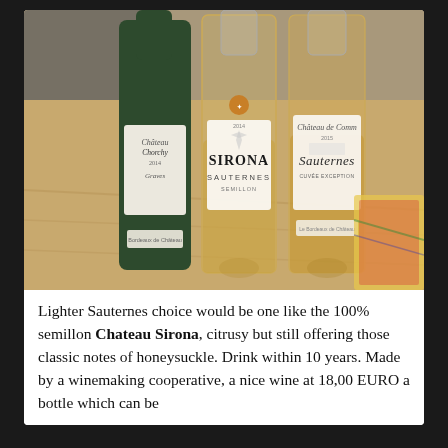[Figure (photo): Three wine bottles on a wooden table: a dark green bottle (Chateau Chordy Graves 2014) on the left, a clear bottle with golden wine labeled SIRONA Sauternes Semillon (2014) in the center, and another clear bottle with golden wine labeled Chateau de Commas Sauternes Cuvee Exception (2015) on the right. Kitchen visible in background.]
Lighter Sauternes choice would be one like the 100% semillon Chateau Sirona, citrusy but still offering those classic notes of honeysuckle. Drink within 10 years. Made by a winemaking cooperative, a nice wine at 18,00 EURO a bottle which can be